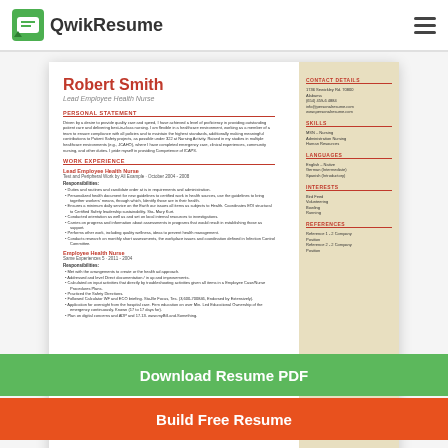QwikResume
[Figure (screenshot): Resume thumbnail for Robert Smith, Lead Employee Health Nurse, showing a two-column resume layout with a beige sidebar containing contact details, skills, languages, interests, and references. Main column has personal statement, work experience with bullet points.]
Download Resume PDF
Build Free Resume